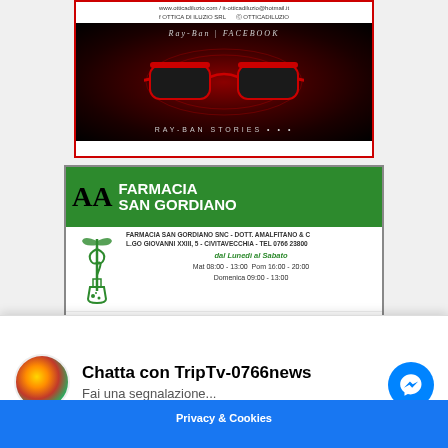[Figure (photo): Advertisement for Ottica Di Iluzio showing Ray-Ban Stories sunglasses on a red swirling background. Website: www.otticadiluzio.com / it-otticadiluzio@hotmail.it. Social: OTTICA DI ILUZIO SRL (Facebook), OTTICADILUZIO (Instagram).]
[Figure (photo): Advertisement for Farmacia San Gordiano SNC - DOTT. AMALFITANO & C. L.GO GIOVANNI XXIII, 5 - CIVITAVECCHIA - TEL 0766 23800. Hours: dal Lunedi al Sabato, Mat 08:00-13:00 Pom 16:00-20:00, Domenica 09:00-13:00. Facebook: Farmacia San Gordiano. Website: www.farmaciasangordianoannalfitano.com. Footer: PRESSO LA PARAFARMACIA CENTRO ESTETICO CON BAGNO TURCO E DOCCIA SOLARE.]
[Figure (photo): Advertisement for Officina Meccanica - Gommista - Tolfa (RM). F.LLI SPANÒ - CENTRO REVISIONI.]
Chatta con TripTv-0766news
Fai una segnalazione...
Privacy & Cookies